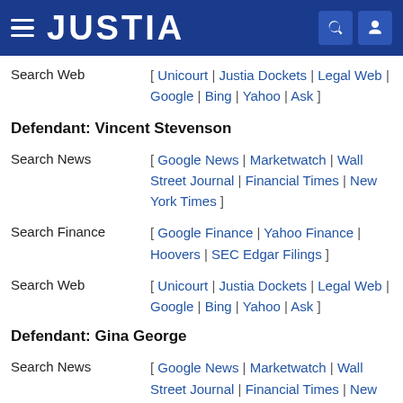JUSTIA
Search Web [ Unicourt | Justia Dockets | Legal Web | Google | Bing | Yahoo | Ask ]
Defendant: Vincent Stevenson
Search News [ Google News | Marketwatch | Wall Street Journal | Financial Times | New York Times ]
Search Finance [ Google Finance | Yahoo Finance | Hoovers | SEC Edgar Filings ]
Search Web [ Unicourt | Justia Dockets | Legal Web | Google | Bing | Yahoo | Ask ]
Defendant: Gina George
Search News [ Google News | Marketwatch | Wall Street Journal | Financial Times | New York Times ]
Search Finance [ Google Finance | Yahoo Finance |